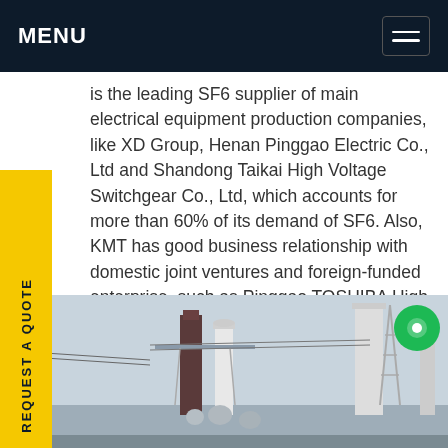MENU
is the leading SF6 supplier of main electrical equipment production companies, like XD Group, Henan Pinggao Electric Co., Ltd and Shandong Taikai High Voltage Switchgear Co., Ltd, which accounts for more than 60% of its demand of SF6. Also, KMT has good business relationship with domestic joint ventures and foreign-funded enterprise, such as Pinggao TOSHIBA High Voltage, Hyundai Heavy Industries (China) Electric Co., Ltd, Xiamen Huadian Switchgear Co., Ltd, ABB and so on.Get price
[Figure (photo): Industrial electrical substation with high-voltage equipment, transformers, towers, and conductors against an overcast sky.]